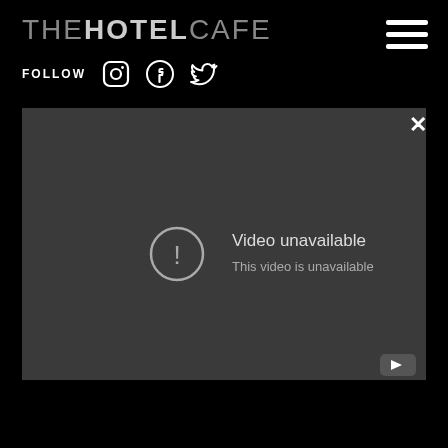THE HOTEL CAFE
FOLLOW
[Figure (screenshot): Video unavailable error screen embedded in a dark video player. Shows a circle with exclamation mark icon, text 'Video unavailable' and 'This video is unavailable', and a YouTube button in the bottom-right corner.]